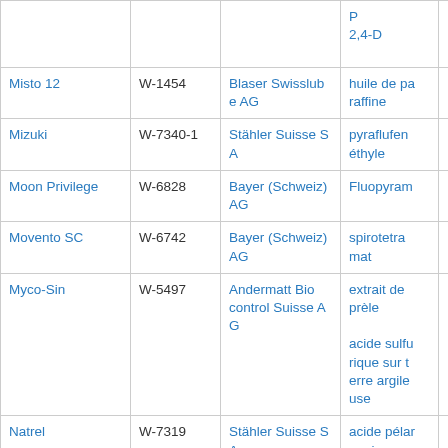| Name | Reg. No. | Company | Substance |  |
| --- | --- | --- | --- | --- |
|  |  |  | P
2,4-D |  |
| Misto 12 | W-1454 | Blaser Swisslubase AG | huile de paraffine |  |
| Mizuki | W-7340-1 | Stähler Suisse SA | pyraflufen éthyle |  |
| Moon Privilege | W-6828 | Bayer (Schweiz) AG | Fluopyram |  |
| Movento SC | W-6742 | Bayer (Schweiz) AG | spirotetramat |  |
| Myco-Sin | W-5497 | Andermatt Biocontrol Suisse AG | extrait de prèle
acide sulfurique sur terre argileuse |  |
| Natrel | W-7319 | Stähler Suisse SA | acide pélar gonique |  |
| Natrel Garden | W-7321 | Stähler Suisse SA | acide pélar gonique |  |